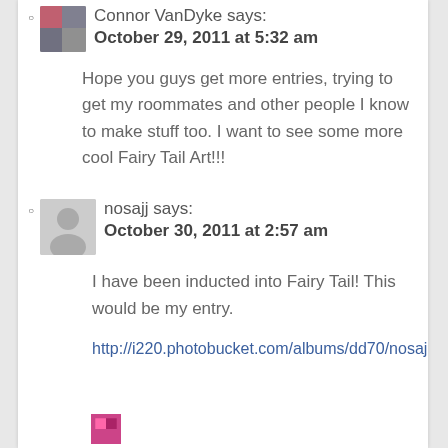Connor VanDyke says:
October 29, 2011 at 5:32 am
Hope you guys get more entries, trying to get my roommates and other people I know to make stuff too. I want to see some more cool Fairy Tail Art!!!
nosajj says:
October 30, 2011 at 2:57 am
I have been inducted into Fairy Tail! This would be my entry.
http://i220.photobucket.com/albums/dd70/nosaj